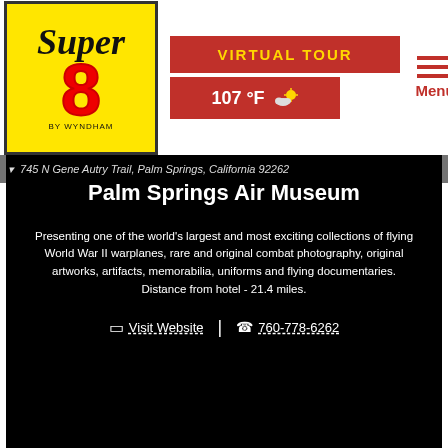[Figure (logo): Super 8 by Wyndham logo — yellow box with black cursive Super 8 text in black and red]
[Figure (infographic): Virtual Tour red button and 107°F weather display with cloud/sun icon, plus hamburger Menu icon]
745 N Gene Autry Trail, Palm Springs, California 92262
Palm Springs Air Museum
Presenting one of the world's largest and most exciting collections of flying World War II warplanes, rare and original combat photography, original artworks, artifacts, memorabilia, uniforms and flying documentaries. Distance from hotel - 21.4 miles.
Visit Website | 760-778-6262
[Figure (photo): Bottom portion of a photo showing blue sky with clouds and palm trees at the bottom]